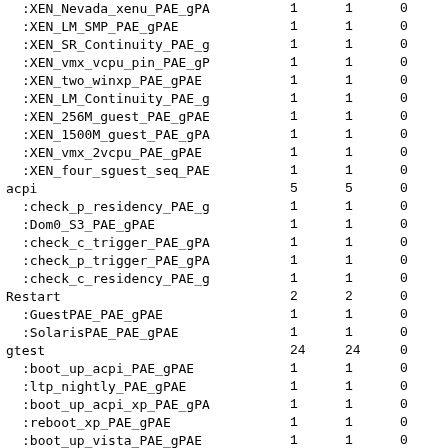| Name | Col1 | Col2 | Col3 | Col4 |
| --- | --- | --- | --- | --- |
| :XEN_Nevada_xenu_PAE_gPA | 1 | 1 | 0 | 0 |
| :XEN_LM_SMP_PAE_gPAE | 1 | 1 | 0 | 0 |
| :XEN_SR_Continuity_PAE_g | 1 | 1 | 0 | 0 |
| :XEN_vmx_vcpu_pin_PAE_gP | 1 | 1 | 0 | 0 |
| :XEN_two_winxp_PAE_gPAE | 1 | 1 | 0 | 0 |
| :XEN_LM_Continuity_PAE_g | 1 | 1 | 0 | 0 |
| :XEN_256M_guest_PAE_gPAE | 1 | 1 | 0 | 0 |
| :XEN_1500M_guest_PAE_gPA | 1 | 1 | 0 | 0 |
| :XEN_vmx_2vcpu_PAE_gPAE | 1 | 1 | 0 | 0 |
| :XEN_four_sguest_seq_PAE | 1 | 1 | 0 | 0 |
| acpi | 5 | 5 | 0 | 0 |
| :check_p_residency_PAE_g | 1 | 1 | 0 | 0 |
| :Dom0_S3_PAE_gPAE | 1 | 1 | 0 | 0 |
| :check_c_trigger_PAE_gPA | 1 | 1 | 0 | 0 |
| :check_p_trigger_PAE_gPA | 1 | 1 | 0 | 0 |
| :check_c_residency_PAE_g | 1 | 1 | 0 | 0 |
| Restart | 2 | 2 | 0 | 0 |
| :GuestPAE_PAE_gPAE | 1 | 1 | 0 | 0 |
| :SolarisPAE_PAE_gPAE | 1 | 1 | 0 | 0 |
| gtest | 24 | 24 | 0 | 0 |
| :boot_up_acpi_PAE_gPAE | 1 | 1 | 0 | 0 |
| :ltp_nightly_PAE_gPAE | 1 | 1 | 0 | 0 |
| :boot_up_acpi_xp_PAE_gPA | 1 | 1 | 0 | 0 |
| :reboot_xp_PAE_gPAE | 1 | 1 | 0 | 0 |
| :boot_up_vista_PAE_gPAE | 1 | 1 | 0 | 0 |
| :boot_fc9_PAE_gPAE | 1 | 1 | 0 | 0 |
| :boot_up_acpi_win2k3_PAE | 1 | 1 | 0 | 0 |
| :boot_smp_acpi_win2k3_PA | 1 | 1 | 0 | 0 |
| :boot_smp_acpi_win2k_PAE | 1 | 1 | 0 | 0 |
| :boot_up_acpi_win2k_PAE | 1 | 1 | 0 | 0 |